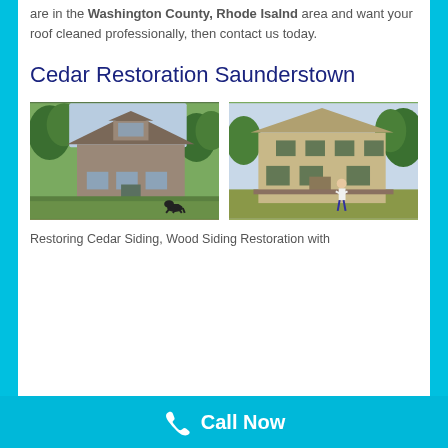are in the Washington County, Rhode Isalnd area and want your roof cleaned professionally, then contact us today.
Cedar Restoration Saunderstown
[Figure (photo): Two photos side by side of large residential homes with green lawns and trees. Left photo shows a grey cedar-sided two-story house. Right photo shows a tan/beige two-story house with a person standing on the lawn.]
Restoring Cedar Siding, Wood Siding Restoration with
Call Now